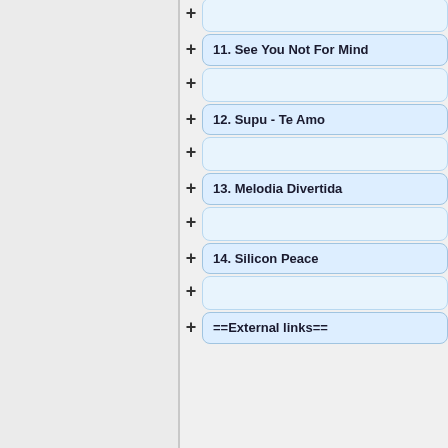[Figure (flowchart): Wikipedia-style collapsible tree/outline editor showing numbered entries: 11. See You Not For Mind, 12. Supu - Te Amo, 13. Melodia Divertida, 14. Silicon Peace, and ==External links==, each preceded by a + button and alternating with empty expandable nodes.]